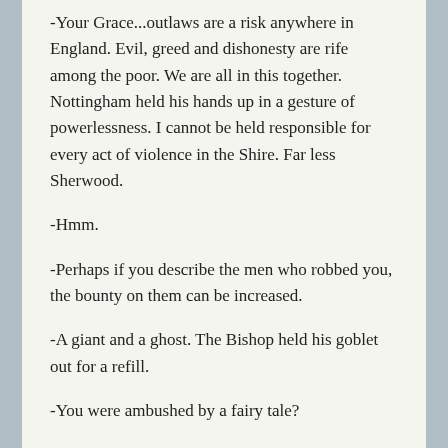-Your Grace...outlaws are a risk anywhere in England. Evil, greed and dishonesty are rife among the poor. We are all in this together. Nottingham held his hands up in a gesture of powerlessness. I cannot be held responsible for every act of violence in the Shire. Far less Sherwood.
-Hmm.
-Perhaps if you describe the men who robbed you, the bounty on them can be increased.
-A giant and a ghost. The Bishop held his goblet out for a refill.
-You were ambushed by a fairy tale?